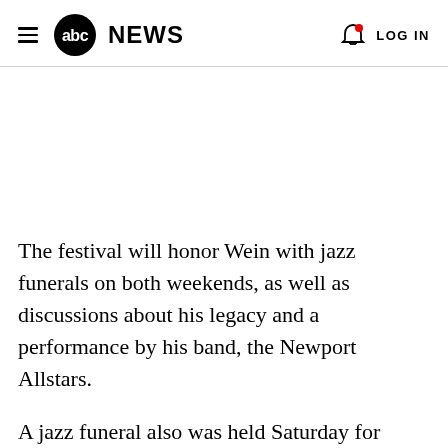abc NEWS  LOG IN
The festival will honor Wein with jazz funerals on both weekends, as well as discussions about his legacy and a performance by his band, the Newport Allstars.
A jazz funeral also was held Saturday for